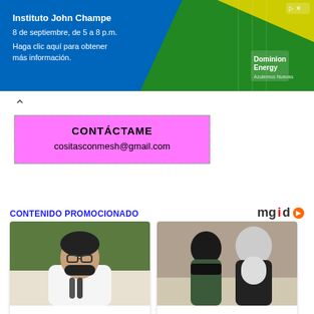[Figure (photo): Advertisement banner for Instituto John Champe with Dominion Energy branding on blue/green background]
CONTÁCTAME
cositasconmesh@gmail.com
CONTENIDO PROMOCIONADO
[Figure (photo): Chile's New President Won From The Left. Can He Govern Like That? - Brainberries]
[Figure (photo): Why Are Women In Afghanistan Fearful Of A New Taliban Rule? - Brainberries]